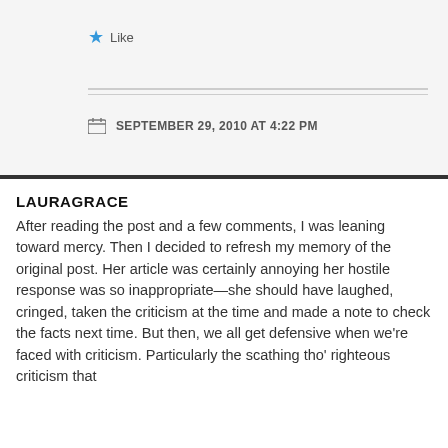★ Like
SEPTEMBER 29, 2010 AT 4:22 PM
LAURAGRACE
After reading the post and a few comments, I was leaning toward mercy. Then I decided to refresh my memory of the original post. Her article was certainly annoying her hostile response was so inappropriate—she should have laughed, cringed, taken the criticism at the time and made a note to check the facts next time. But then, we all get defensive when we're faced with criticism. Particularly the scathing tho' righteous criticism that